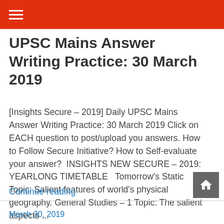UPSC Mains Answer Writing Practice: 30 March 2019
[Insights Secure – 2019] Daily UPSC Mains Answer Writing Practice: 30 March 2019 Click on EACH question to post/upload you answers. How to Follow Secure Initiative? How to Self-evaluate your answer?  INSIGHTS NEW SECURE – 2019: YEARLONG TIMETABLE   Tomorrow's Static Topic: Salient features of world's physical geography. General Studies – 1 Topic: The salient aspects ...
Continue reading
March 30, 2019